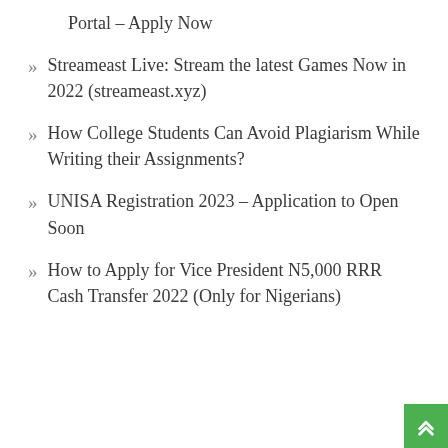Portal – Apply Now
Streameast Live: Stream the latest Games Now in 2022 (streameast.xyz)
How College Students Can Avoid Plagiarism While Writing their Assignments?
UNISA Registration 2023 – Application to Open Soon
How to Apply for Vice President N5,000 RRR Cash Transfer 2022 (Only for Nigerians)